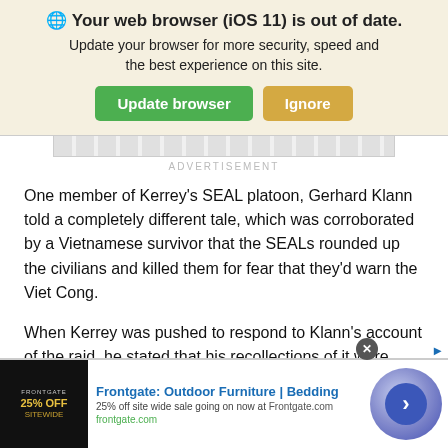🌐 Your web browser (iOS 11) is out of date. Update your browser for more security, speed and the best experience on this site.
Update browser | Ignore
ADVERTISEMENT
One member of Kerrey's SEAL platoon, Gerhard Klann told a completely different tale, which was corroborated by a Vietnamese survivor that the SEALs rounded up the civilians and killed them for fear that they'd warn the Viet Cong.
When Kerrey was pushed to respond to Klann's account of the raid, he stated that his recollections of it were different
Frontgate: Outdoor Furniture | Bedding
25% off site wide sale going on now at Frontgate.com
frontgate.com